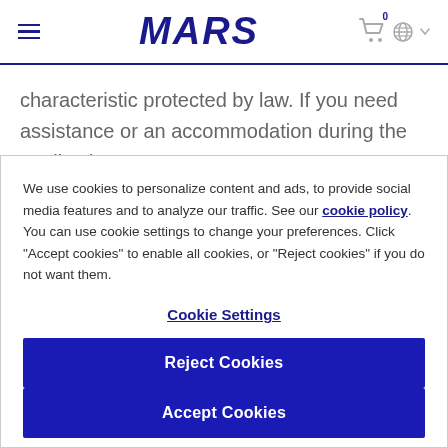MARS
characteristic protected by law. If you need assistance or an accommodation during the application process
We use cookies to personalize content and ads, to provide social media features and to analyze our traffic. See our cookie policy. You can use cookie settings to change your preferences. Click "Accept cookies" to enable all cookies, or "Reject cookies" if you do not want them.
Cookie Settings
Reject Cookies
Accept Cookies